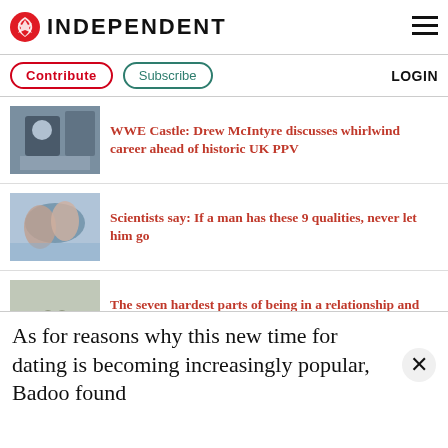INDEPENDENT
WWE Castle: Drew McIntyre discusses whirlwind career ahead of historic UK PPV
Scientists say: If a man has these 9 qualities, never let him go
The seven hardest parts of being in a relationship and how to overcome them
As for reasons why this new time for dating is becoming increasingly popular, Badoo found